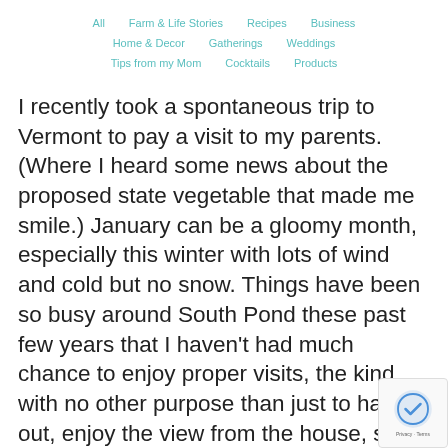All   Farm & Life Stories   Recipes   Business   Home & Decor   Gatherings   Weddings   Tips from my Mom   Cocktails   Products
I recently took a spontaneous trip to Vermont to pay a visit to my parents. (Where I heard some news about the proposed state vegetable that made me smile.) January can be a gloomy month, especially this winter with lots of wind and cold but no snow. Things have been so busy around South Pond these past few years that I haven't had much chance to enjoy proper visits, the kind with no other purpose than just to hang out, enjoy the view from the house, see my mother's quilting creations, catch up on U.S. politics with my dad and of course, watch television